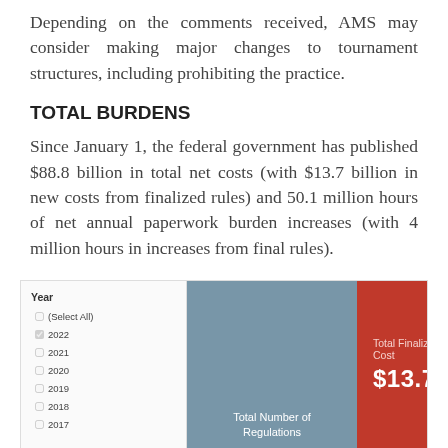Depending on the comments received, AMS may consider making major changes to tournament structures, including prohibiting the practice.
TOTAL BURDENS
Since January 1, the federal government has published $88.8 billion in total net costs (with $13.7 billion in new costs from finalized rules) and 50.1 million hours of net annual paperwork burden increases (with 4 million hours in increases from final rules).
[Figure (screenshot): A dashboard UI panel showing a year filter on the left with checkboxes (Select All, 2022 checked, 2021, 2020, 2019, 2018, 2017 unchecked), a blue-grey center panel labeled 'Total Number of Regulations', and a red right panel showing 'Total Finalized Cost $13.7b'.]